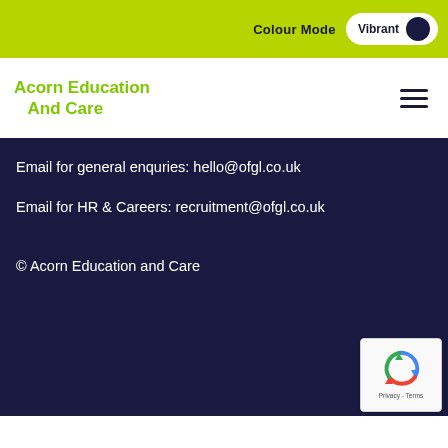Colour Mode  Vibrant
Acorn Education And Care
Email for general enquries: hello@ofgl.co.uk
Email for HR & Careers: recruitment@ofgl.co.uk
© Acorn Education and Care
[Figure (logo): reCAPTCHA badge with recycle-arrow icon and Privacy - Terms text]